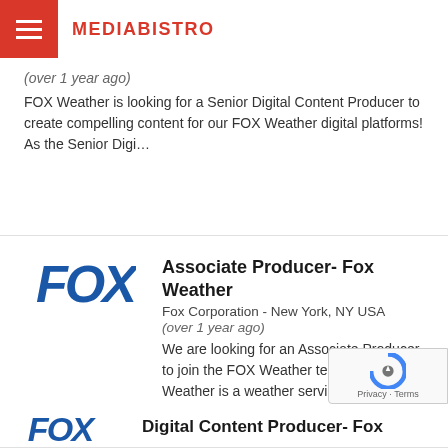MEDIABISTRO
(over 1 year ago)
FOX Weather is looking for a Senior Digital Content Producer to create compelling content for our FOX Weather digital platforms! As the Senior Digi...
Associate Producer- Fox Weather
Fox Corporation - New York, NY USA
(over 1 year ago)
We are looking for an Associate Producer to join the FOX Weather team!FOX Weather is a weather service that will provide critical information throu...
Digital Content Producer- Fox